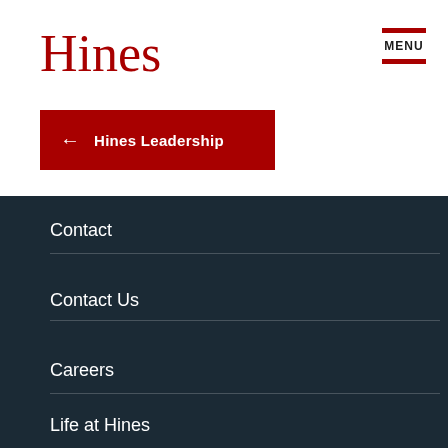Hines
← Hines Leadership
Contact
Contact Us
Careers
Life at Hines